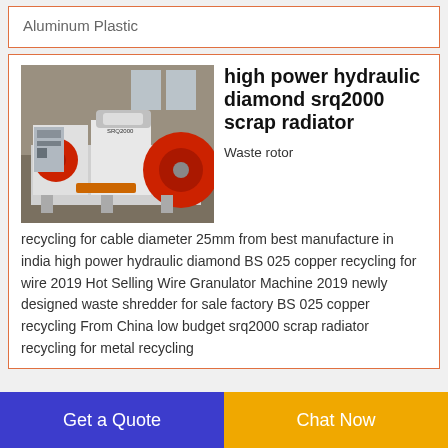Aluminum Plastic
[Figure (photo): Industrial scrap radiator recycling machine (SRQ2000) with red flywheel components, white metal frame, displayed in a warehouse/factory setting.]
high power hydraulic diamond srq2000 scrap radiator
Waste rotor recycling for cable diameter 25mm from best manufacture in india high power hydraulic diamond BS 025 copper recycling for wire 2019 Hot Selling Wire Granulator Machine 2019 newly designed waste shredder for sale factory BS 025 copper recycling From China low budget srq2000 scrap radiator recycling for metal recycling
Get a Quote
Chat Now